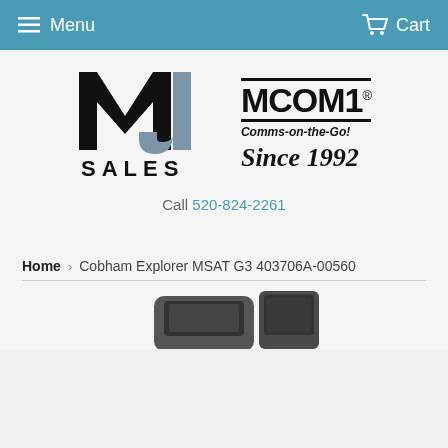Menu   Cart
[Figure (logo): MJ Sales logo with large bold black M and grey J letters, with SALES text below]
[Figure (logo): MCOM1 logo with bold text, tagline 'Comms-on-the-Go!' and 'Since 1992']
Call 520-824-2261
Home › Cobham Explorer MSAT G3 403706A-00560
[Figure (photo): Partial view of a Cobham Explorer MSAT G3 device at the bottom of the page]